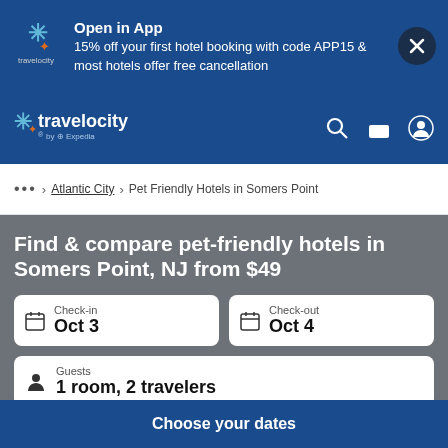[Figure (screenshot): Travelocity app promotional banner with logo, text offering 15% off first hotel booking with code APP15 and free cancellation, and close button]
[Figure (screenshot): Travelocity navigation bar with logo, search icon, briefcase icon, and user account icon]
... > Atlantic City > Pet Friendly Hotels in Somers Point
Find & compare pet-friendly hotels in Somers Point, NJ from $49
Check-in Oct 3
Check-out Oct 4
Guests 1 room, 2 travelers
Choose your dates